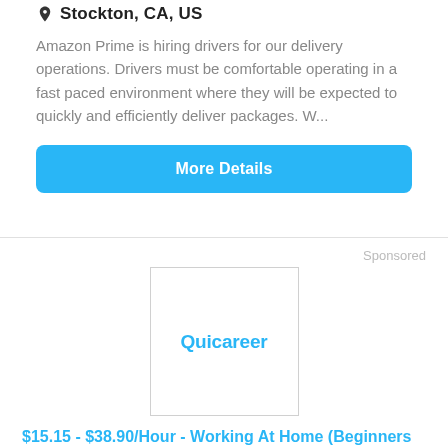Stockton, CA, US
Amazon Prime is hiring drivers for our delivery operations. Drivers must be comfortable operating in a fast paced environment where they will be expected to quickly and efficiently deliver packages. W...
More Details
Sponsored
[Figure (logo): Quicareer company logo inside a bordered rectangle]
$15.15 - $38.90/Hour - Working At Home (Beginners Preferred)
WORK AT HOME TODAY